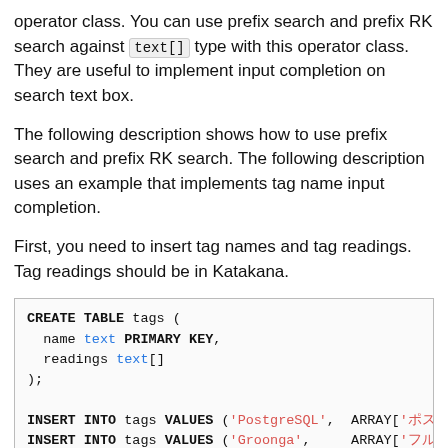operator class. You can use prefix search and prefix RK search against text[] type with this operator class. They are useful to implement input completion on search text box.
The following description shows how to use prefix search and prefix RK search. The following description uses an example that implements tag name input completion.
First, you need to insert tag names and tag readings. Tag readings should be in Katakana.
[Figure (screenshot): Code block showing SQL CREATE TABLE and INSERT INTO statements for a tags table with name and readings columns]
You need to create indexes against tag names and tag readings. It's important that